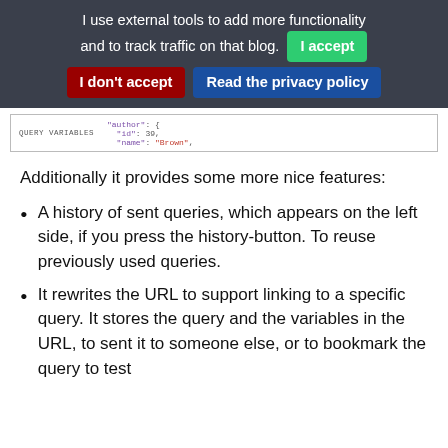I use external tools to add more functionality and to track traffic on that blog. I accept I don't accept Read the privacy policy
[Figure (screenshot): Screenshot of a GraphQL query variables panel showing JSON with author id and name fields]
Additionally it provides some more nice features:
A history of sent queries, which appears on the left side, if you press the history-button. To reuse previously used queries.
It rewrites the URL to support linking to a specific query. It stores the query and the variables in the URL, to sent it to someone else, or to bookmark the query to test.